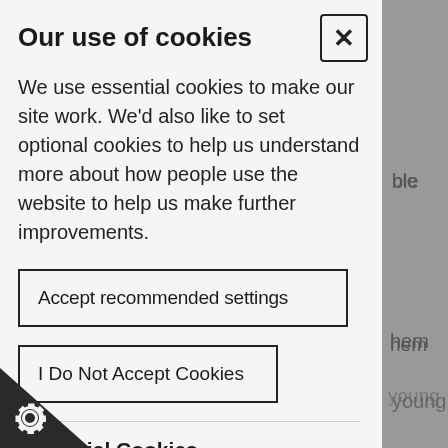Our use of cookies
We use essential cookies to make our site work. We'd also like to set optional cookies to help us understand more about how people use the website to help us make further improvements.
Accept recommended settings
I Do Not Accept Cookies
Essential Cookies
Essential cookies enable core functionality such navigation and access to secure areas.